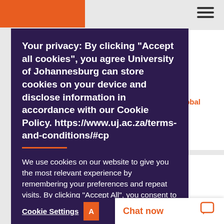[Figure (screenshot): University of Johannesburg website with cookie consent modal overlay on a dark purple background. Orange logo top-left, hamburger menu top-right, partial white content cards visible on right.]
Your privacy: By clicking “Accept all cookies”, you agree University of Johannesburg can store cookies on your device and disclose information in accordance with our Cookie Policy. https://www.uj.ac.za/terms-and-conditions/#cp
We use cookies on our website to give you the most relevant experience by remembering your preferences and repeat visits. By clicking “Accept All”, you consent to the use of ALL the cookies. However, you may visit “Cookie Settings” to provide a controlled consent.
Cookie Settings
Chat now